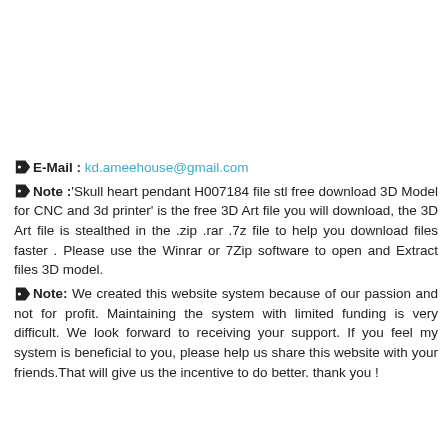E-Mail : kd.ameehouse@gmail.com
Note :'Skull heart pendant H007184 file stl free download 3D Model for CNC and 3d printer' is the free 3D Art file you will download, the 3D Art file is stealthed in the .zip .rar .7z file to help you download files faster . Please use the Winrar or 7Zip software to open and Extract files 3D model.
Note: We created this website system because of our passion and not for profit. Maintaining the system with limited funding is very difficult. We look forward to receiving your support. If you feel my system is beneficial to you, please help us share this website with your friends.That will give us the incentive to do better. thank you !